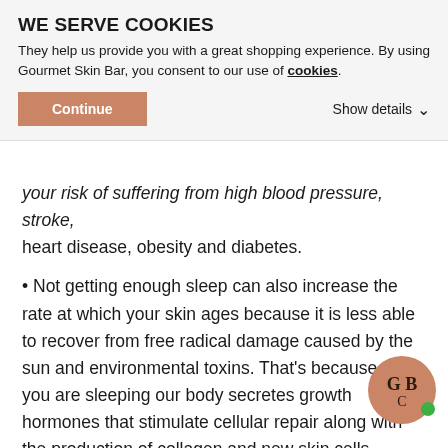WE SERVE COOKIES
They help us provide you with a great shopping experience. By using Gourmet Skin Bar, you consent to our use of cookies.
Continue   Show details
your risk of suffering from high blood pressure, stroke, heart disease, obesity and diabetes.
Not getting enough sleep can also increase the rate at which your skin ages because it is less able to recover from free radical damage caused by the sun and environmental toxins. That's because while you are sleeping our body secretes growth hormones that stimulate cellular repair along with the production of collagen and new skin cells.
Like resetting your digestive system with a detox, try these simple rituals to clean up your sleep routine so you can enjoy a deeper restorative sleep and get your body back on track.
[Figure (logo): Gourmet Skin Bar circular logo in brown/tan color with GB monogram and green dot]